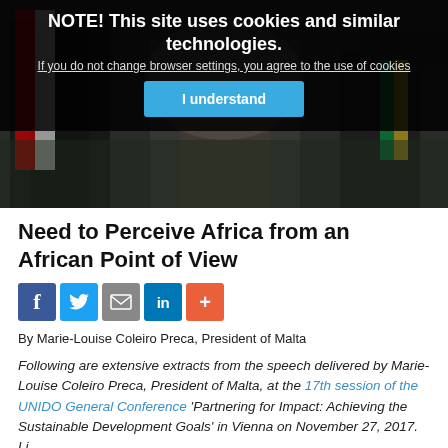NOTE! This site uses cookies and similar technologies. If you do not change browser settings, you agree to the use of cookies
I understand
[Figure (photo): Two figures at a podium with flags, outdoor press conference or official event]
Need to Perceive Africa from an African Point of View
[Figure (infographic): Social sharing icons: Facebook, Twitter, Email, LinkedIn, More (+)]
By Marie-Louise Coleiro Preca, President of Malta
Following are extensive extracts from the speech delivered by Marie-Louise Coleiro Preca, President of Malta, at the 17th session of the UNIDO General Conference 'Partnering for Impact: Achieving the Sustainable Development Goals' in Vienna on November 27, 2017. Li